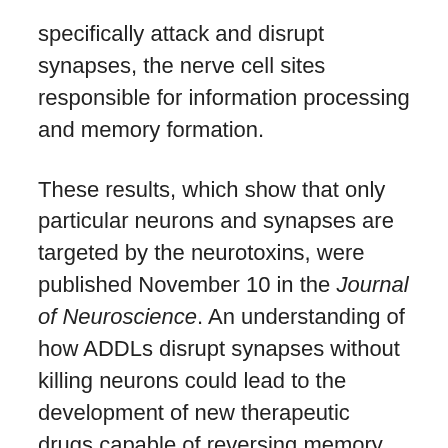specifically attack and disrupt synapses, the nerve cell sites responsible for information processing and memory formation.
These results, which show that only particular neurons and synapses are targeted by the neurotoxins, were published November 10 in the Journal of Neuroscience. An understanding of how ADDLs disrupt synapses without killing neurons could lead to the development of new therapeutic drugs capable of reversing memory loss in patients who are treated early, in addition to preventing or delaying the disease.
“Memory starts at synapses, so it was probable that